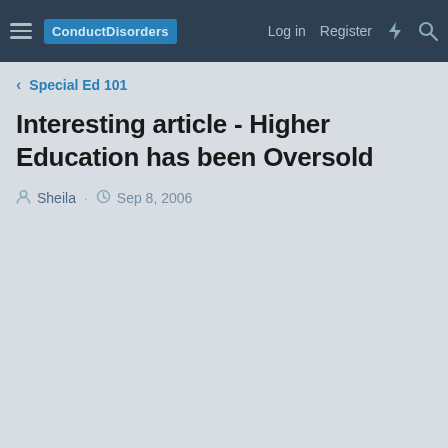ConductDisorders | Log in | Register
< Special Ed 101
Interesting article - Higher Education has been Oversold
Sheila · Sep 8, 2006